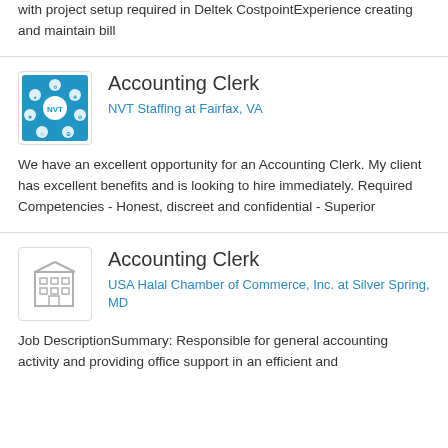with project setup required in Deltek CostpointExperience creating and maintain bill
[Figure (logo): NVT Staffing logo — blue square with circular icons and NVT text in center]
Accounting Clerk
NVT Staffing at Fairfax, VA
We have an excellent opportunity for an Accounting Clerk. My client has excellent benefits and is looking to hire immediately. Required Competencies - Honest, discreet and confidential - Superior
[Figure (illustration): Generic building/office icon in grey outline style]
Accounting Clerk
USA Halal Chamber of Commerce, Inc. at Silver Spring, MD
Job DescriptionSummary: Responsible for general accounting activity and providing office support in an efficient and